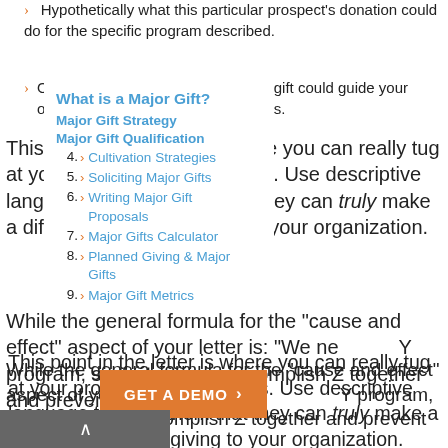Hypothetically what this particular prospect's donation could do for the specific program described.
Other success stories and how this gift could guide your organization toward another success.
This point in the letter is where you can really tug at your prospect's heartstrings. Use descriptive language to show them that they can truly make a difference through giving to your organization.
1. What is a Major Gift?
2. Major Gift Strategy
3. Major Gift Qualification
4. Cultivation Strategies
5. Soliciting Major Gifts
6. Writing Major Gift Proposals
7. Major Gifts Calculator
8. Planned Giving & Major Gifts
9. Major Gift Metrics
While the general formula for the "cause and effect" aspect of your letter is: "We ne... Y program, so that we can accomplish Z together and prevent M,"
GET A DEMO >